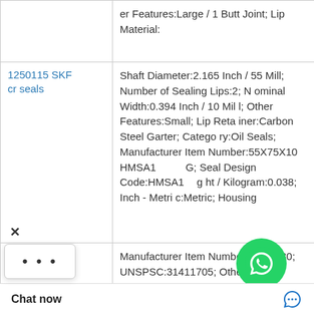| Product | Description |
| --- | --- |
|  | er Features:Large / 1 Butt Joint; Lip Material: |
| 1250115 SKF cr seals | Shaft Diameter:2.165 Inch / 55 Mill; Number of Sealing Lips:2; Nominal Width:0.394 Inch / 10 Mill; Other Features:Small; Lip Retainer:Carbon Steel Garter; Category:Oil Seals; Manufacturer Item Number:55X75X10 HMSA10G; Seal Design Code:HMSA10; Weight / Kilogram:0.038; Inch - Metric:Metric; Housing |
| SKF cr wheel seal | Manufacturer Item Number:1500380; UNSPSC:31411705; Other Features:Large / With Inner C; Lip Retainer:Stainless Steel Gart; Housing Bore:16.75 Inch / 425.45; Case Construction:Steel; Man e:SKF; Generic De _HDS1; Weight / L it Diameter:15 In |
[Figure (logo): WhatsApp Online green circle icon with text 'WhatsApp Online']
Chat now